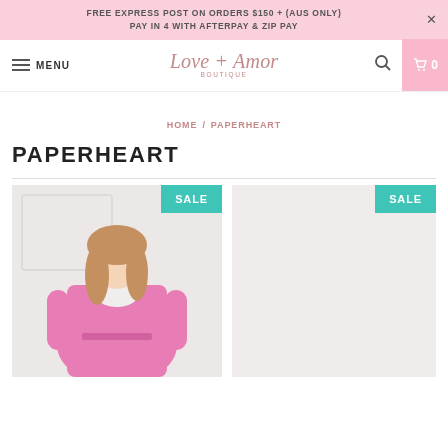FREE EXPRESS POST ON ORDERS $150 + (AUS ONLY)
PAY IN 4 WITH AFTERPAY & ZIP PAY
[Figure (logo): Love + Amor Boutique logo in pink script with BOUTIQUE subtitle]
HOME / PAPERHEART
PAPERHEART
[Figure (photo): A woman wearing a pink knit cardigan with belt tie, shown from waist up, with a white lace top underneath, jeans, against a white wall background. SALE badge in teal top right.]
[Figure (photo): Second product image area with SALE badge in teal top right, product image not visible.]